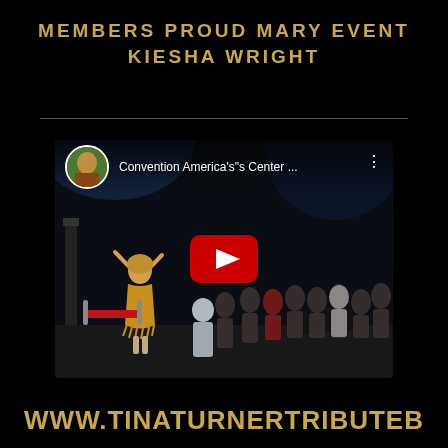MEMBERS PROUD MARY EVENT
KIESHA WRIGHT
[Figure (screenshot): YouTube video thumbnail showing a performer in a gold fringed dress on a dark stage with arms raised, crowd visible in background. Video title: Convention America's"s Center ... with YouTube play button overlay and channel avatar in top left.]
WWW.TINATURNERTRIBUTE